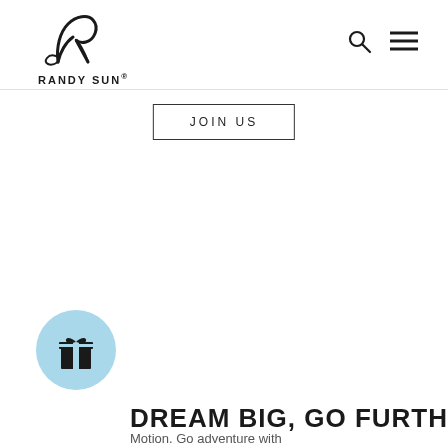RANDY SUN®
JOIN US
[Figure (logo): Gift box icon in light blue circle]
DREAM BIG, GO FURTHER
Motion. Go adventure with